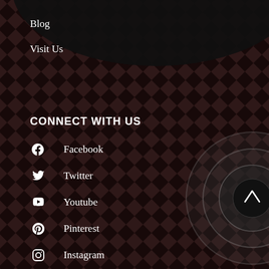Blog
Visit Us
CONNECT WITH US
Facebook
Twitter
Youtube
Pinterest
Instagram
[Figure (illustration): Dark background with diagonal checkered/diamond pattern overlay in dark red and grey tones, a dome/arc shape at the top, and concentric circle UI elements on the lower right with a scroll-to-top arrow button in the center.]